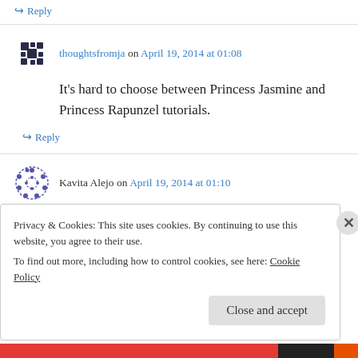↪ Reply
thoughtsfromja on April 19, 2014 at 01:08
It's hard to choose between Princess Jasmine and Princess Rapunzel tutorials.
↪ Reply
Kavita Alejo on April 19, 2014 at 01:10
My favorite tutorial was the sigma creme de
Privacy & Cookies: This site uses cookies. By continuing to use this website, you agree to their use.
To find out more, including how to control cookies, see here: Cookie Policy
Close and accept